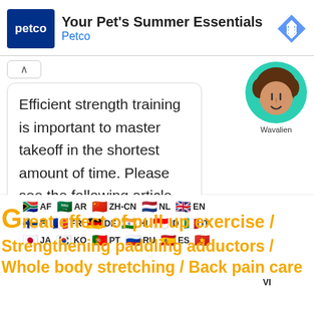[Figure (screenshot): Petco advertisement banner with logo, title 'Your Pet's Summer Essentials', brand name 'Petco', and navigation arrow icon]
Efficient strength training is important to master takeoff in the shortest amount of time. Please see the following article.
[Figure (illustration): Chat avatar of a cartoon person with curly brown hair on a teal circle background, labeled 'Wavalien']
[Figure (screenshot): Language selector row with flags: AF, AR, ZH-CN, NL, EN, FI, FR, DE, HI, ID, IT, JA, KO, PT, RU, ES, VI]
Great effect of pull up exercise / Strengthening paddling adductors / Whole body stretching / Back pain care